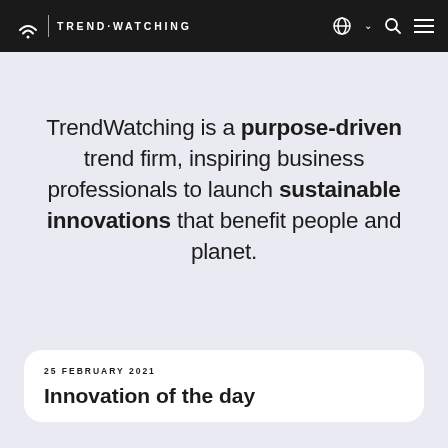TREND·WATCHING
TrendWatching is a purpose-driven trend firm, inspiring business professionals to launch sustainable innovations that benefit people and planet.
25 FEBRUARY 2021
Innovation of the day